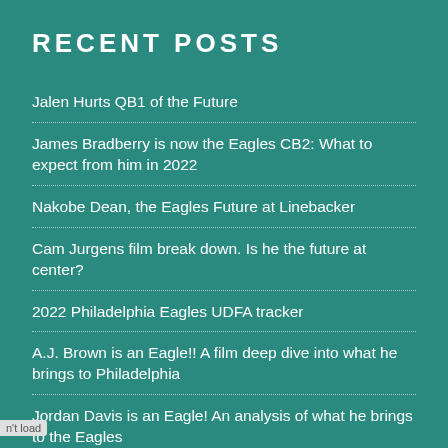RECENT POSTS
Jalen Hurts QB1 of the Future
James Bradberry is now the Eagles CB2: What to expect from him in 2022
Nakobe Dean, the Eagles Future at Linebacker
Cam Jurgens film break down. Is he the future at center?
2022 Philadelphia Eagles UDFA tracker
A.J. Brown is an Eagle!! A film deep dive into what he brings to Philadelphia
Jordan Davis is an Eagle! An analysis of what he brings to the Eagles
Mal Davis Eagles Mock Draft 2.0